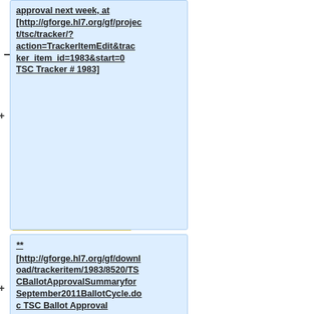approval next week, at [http://gforge.hl7.org/gf/project/tsc/tracker/?action=TrackerItemEdit&tracker_item_id=1983&start=0 TSC Tracker # 1983]
** [http://gforge.hl7.org/gf/download/trackeritem/1983/8520/TSCBallotApprovalSummaryforSeptember2011BallotCycle.doc TSC Ballot Approval Summary for 2011Sept Ballot Cycle]
** [http://gforge.hl7.org/gf/download/trackeritem/1983/8519/2011Sep_ballot_approval_infractions_email.pdf 2011Sept Ballot